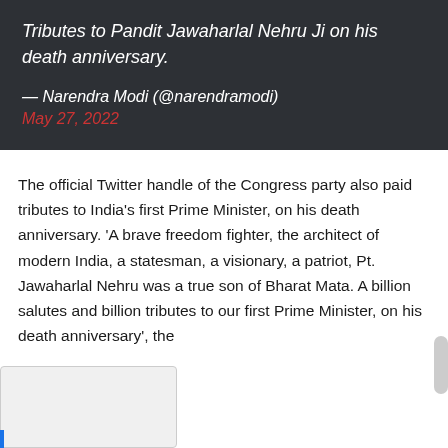Tributes to Pandit Jawaharlal Nehru Ji on his death anniversary.
— Narendra Modi (@narendramodi) May 27, 2022
The official Twitter handle of the Congress party also paid tributes to India's first Prime Minister, on his death anniversary. 'A brave freedom fighter, the architect of modern India, a statesman, a visionary, a patriot, Pt. Jawaharlal Nehru was a true son of Bharat Mata. A billion salutes and billion tributes to our first Prime Minister, on his death anniversary', the